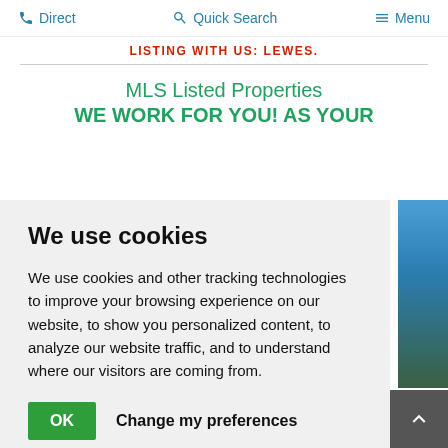Direct  Quick Search  Menu
LISTING WITH US: Lewes.
MLS Listed Properties
WE WORK FOR YOU! AS YOUR
We use cookies
We use cookies and other tracking technologies to improve your browsing experience on our website, to show you personalized content, to analyze our website traffic, and to understand where our visitors are coming from.
OK   Change my preferences